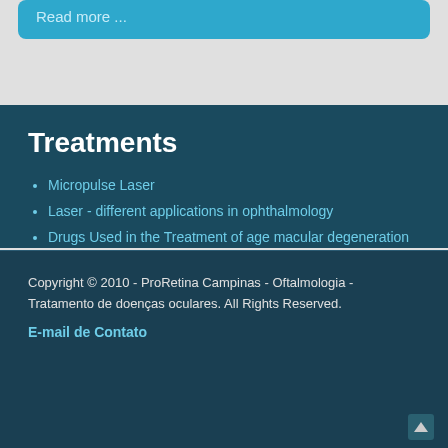Read more ...
Treatments
Micropulse Laser
Laser - different applications in ophthalmology
Drugs Used in the Treatment of age macular degeneration (AMD)
Copyright © 2010 - ProRetina Campinas - Oftalmologia - Tratamento de doenças oculares. All Rights Reserved.
E-mail de Contato